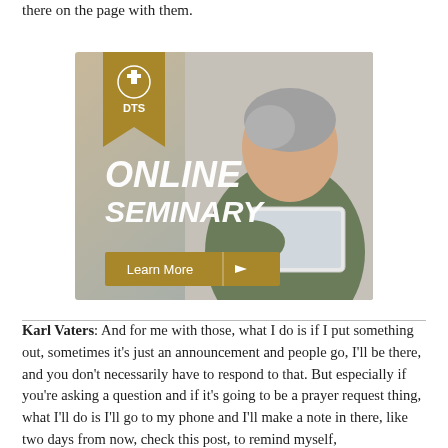there on the page with them.
[Figure (illustration): DTS Online Seminary advertisement showing a middle-aged man with grey hair smiling while using a tablet. Features DTS logo in gold banner top-left, bold white italic text 'ONLINE SEMINARY', and a gold 'Learn More' button with arrow at the bottom.]
Karl Vaters: And for me with those, what I do is if I put something out, sometimes it's just an announcement and people go, I'll be there, and you don't necessarily have to respond to that. But especially if you're asking a question and if it's going to be a prayer request thing, what I'll do is I'll go to my phone and I'll make a note in there, like two days from now, check this post, to remind myself,